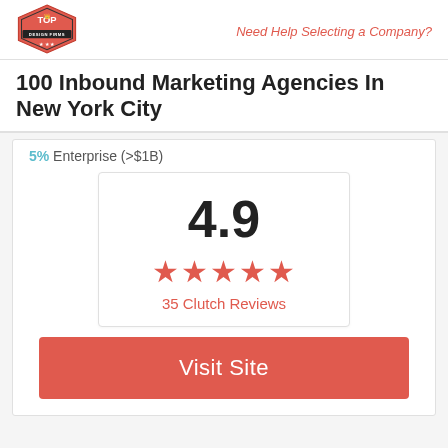Need Help Selecting a Company?
100 Inbound Marketing Agencies In New York City
5% Enterprise (>$1B)
[Figure (infographic): Rating box showing 4.9 score with 5 red stars and '35 Clutch Reviews' text]
Visit Site